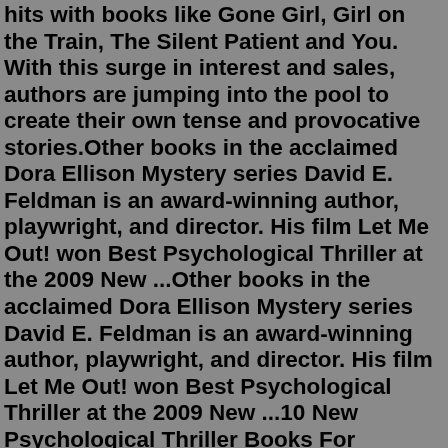hits with books like Gone Girl, Girl on the Train, The Silent Patient and You. With this surge in interest and sales, authors are jumping into the pool to create their own tense and provocative stories.Other books in the acclaimed Dora Ellison Mystery series David E. Feldman is an award-winning author, playwright, and director. His film Let Me Out! won Best Psychological Thriller at the 2009 New ...Other books in the acclaimed Dora Ellison Mystery series David E. Feldman is an award-winning author, playwright, and director. His film Let Me Out! won Best Psychological Thriller at the 2009 New ...10 New Psychological Thriller Books For Summer 2021. False Witness - Leigh Collier has worked hard to build what looks like a normal life. She's an up-and-coming defense attorney at a prestigious law firm in Atlanta, would do anything for her sixteen-year-old daughter Maddy, and is managing to successfully coparent through a pandemic after ...By Emma Donoghue. Jack and his Ma have lived in an 11-by-11-foot room for all of his five years. The room is the only reality Jack knows,